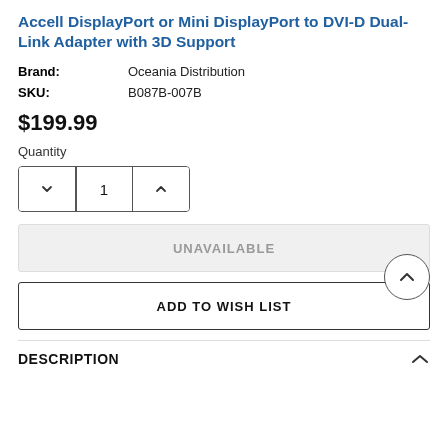Accell DisplayPort or Mini DisplayPort to DVI-D Dual-Link Adapter with 3D Support
Brand: Oceania Distribution
SKU: B087B-007B
$199.99
Quantity
UNAVAILABLE
ADD TO WISH LIST
DESCRIPTION